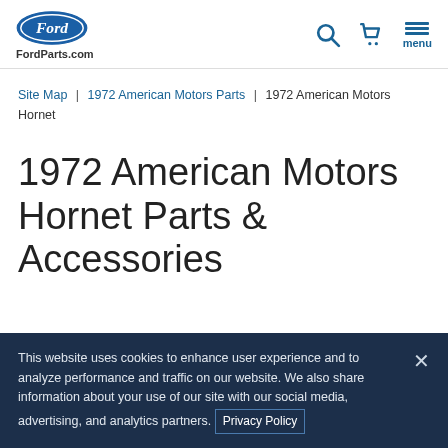FordParts.com
Site Map | 1972 American Motors Parts | 1972 American Motors Hornet
1972 American Motors Hornet Parts & Accessories
This website uses cookies to enhance user experience and to analyze performance and traffic on our website. We also share information about your use of our site with our social media, advertising, and analytics partners. Privacy Policy